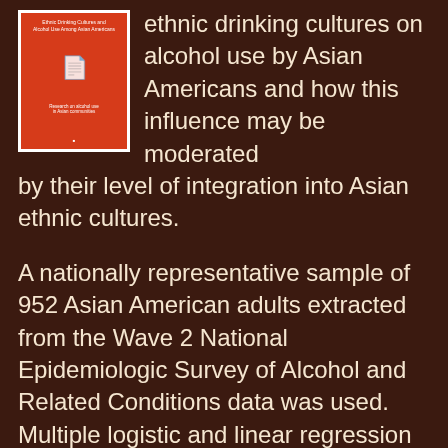[Figure (illustration): Red book cover with white border, small icon and title text]
ethnic drinking cultures on alcohol use by Asian Americans and how this influence may be moderated by their level of integration into Asian ethnic cultures.
A nationally representative sample of 952 Asian American adults extracted from the Wave 2 National Epidemiologic Survey of Alcohol and Related Conditions data was used. Multiple logistic and linear regression models were fitted, some of which were stratified by nativity.
Controlling for financial stress, discrimination and demographic variables, a hypothesized, positive relationship between ethnic drinking